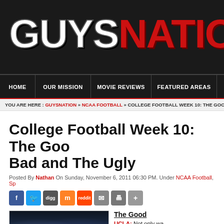GUYSNATION
HOME | OUR MISSION | MOVIE REVIEWS | FEATURED AREAS | O
YOU ARE HERE : GUYSNATION » NCAA FOOTBALL » COLLEGE FOOTBALL WEEK 10: THE GOOD, T
College Football Week 10: The Good, Bad and The Ugly
Posted By Nathan On Sunday, November 6, 2011 06:30 PM. Under NCAA Football, Sp
[Figure (photo): Crowd photo from college football game]
The Good
UCLA: Not only wa... State doing i...